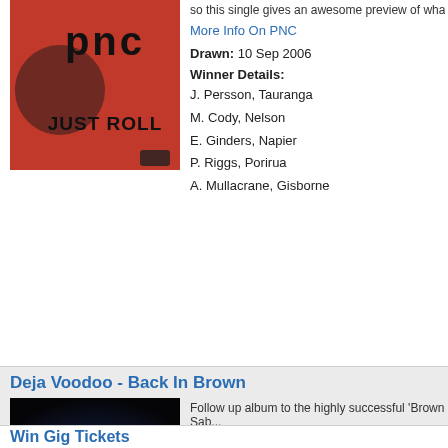so this single gives an awesome preview of what to e...
More Info On PNC
Drawn: 10 Sep 2006
Winner Details:
J. Persson, Tauranga
M. Cody, Nelson
E. Ginders, Napier
P. Riggs, Porirua
A. Mullacrane, Gisborne
[Figure (photo): PNC - Just Roll album cover with red background]
Deja Voodoo - Back In Brown
[Figure (photo): Deja Voodoo - Back In Brown album cover with dark space background]
Follow up album to the highly successful 'Brown Sab... crafted rock songs from New Zealand's favourite mu...
Album Review
More Info On Deja Voodoo
Drawn: 26 Aug 2006
Winner Details:
A. Kelly, Christchurch
D. Morgan, Greymouth
W. Nicolson, Dunedin
C. McGregor, Te Kopuru
M. Hoyes, New Plymouth
Win Gig Tickets